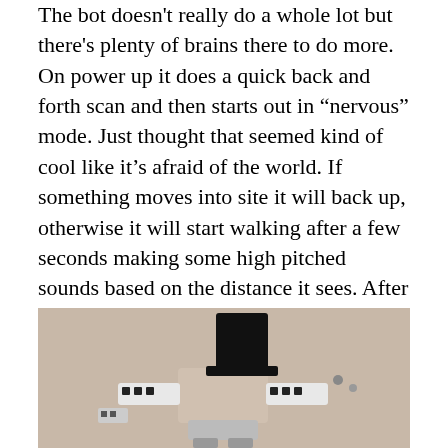The bot doesn't really do a whole lot but there's plenty of brains there to do more. On power up it does a quick back and forth scan and then starts out in “nervous” mode. Just thought that seemed kind of cool like it’s afraid of the world. If something moves into site it will back up, otherwise it will start walking after a few seconds making some high pitched sounds based on the distance it sees. After a random time it will revert to nervous mode again and shiver a little while before proceeding to wander again.
[Figure (photo): A small robot with a black 3D-printed top hat, white and dark body parts visible, photographed against a light gray/beige background. The robot appears to have multiple components including white rectangular segments and small dark details.]